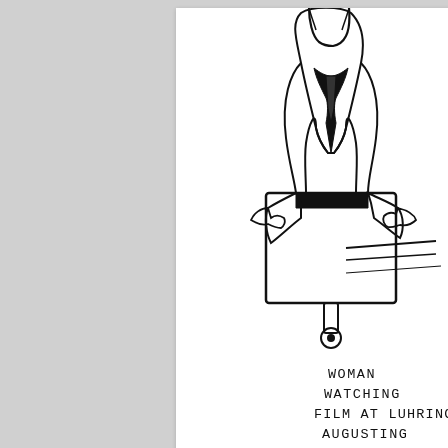[Figure (illustration): Hand-drawn ink illustration of a woman leaning over a boxy TV/monitor on a stand, watching a film. She is wearing a dark outfit with a tie. The image is accompanied by handwritten text reading: WOMAN WATCHING FILM AT LUHRING AUGUSTINE 9.21.2012]